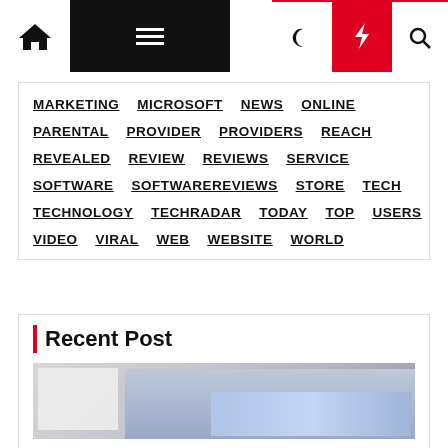Navigation bar with home, menu, moon, bolt, search icons
MARKETING
MICROSOFT
NEWS
ONLINE
PARENTAL
PROVIDER
PROVIDERS
REACH
REVEALED
REVIEW
REVIEWS
SERVICE
SOFTWARE
SOFTWAREREVIEWS
STORE
TECH
TECHNOLOGY
TECHRADAR
TODAY
TOP
USERS
VIDEO
VIRAL
WEB
WEBSITE
WORLD
Recent Post
[Figure (photo): Photo of a laptop/computer monitor showing a calendar or spreadsheet application with blue grid]